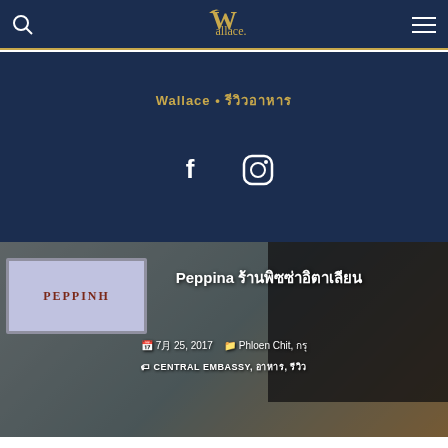Wallace • (Thai text)
f  (Instagram icon)
[Figure (photo): Hero image of Peppina restaurant with tiled sign and dark interior shelving]
Peppina (Thai characters)
7月25, 2017  Phloen Chit, (Thai)
CENTRAL EMBASSY, (Thai), (Thai)